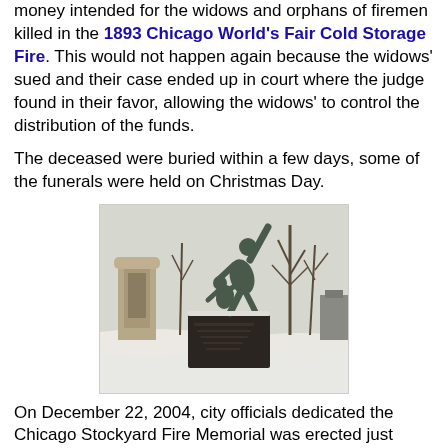money intended for the widows and orphans of firemen killed in the 1893 Chicago World's Fair Cold Storage Fire. This would not happen again because the widows' sued and their case ended up in court where the judge found in their favor, allowing the widows' to control the distribution of the funds.
The deceased were buried within a few days, some of the funerals were held on Christmas Day.
[Figure (photo): Outdoor winter scene showing a bronze and aluminum sculpture on a dark stone pedestal, with bare trees and a stone arch gate structure visible in the background, snow on the ground.]
On December 22, 2004, city officials dedicated the Chicago Stockyard Fire Memorial was erected just behind the Union Stock Yards Gate at the intersection of Exchange Avenue and Peoria Street. An 8-foot-tall bronze and aluminum sculpture and a “Wall of Honor” bearing the names of